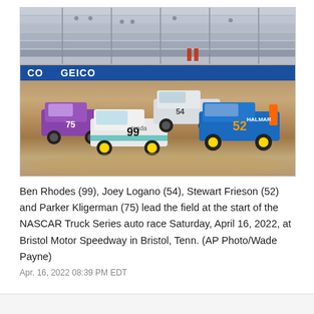[Figure (photo): NASCAR Truck Series race at Bristol Motor Speedway on a dirt track. Trucks visible include #99 (Ben Rhodes, white/teal), #52 (Stewart Frieson, blue/orange), a purple truck (Parker Kligerman #75), and a white truck (Joey Logano #54). GEICO banner visible on the wall. Grandstands in background.]
Ben Rhodes (99), Joey Logano (54), Stewart Frieson (52) and Parker Kligerman (75) lead the field at the start of the NASCAR Truck Series auto race Saturday, April 16, 2022, at Bristol Motor Speedway in Bristol, Tenn. (AP Photo/Wade Payne)
Apr. 16, 2022 08:39 PM EDT